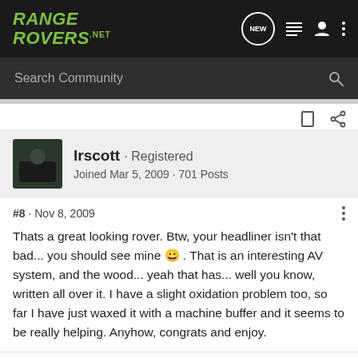RANGE ROVERS.NET
Search Community
lrscott · Registered
Joined Mar 5, 2009 · 701 Posts
#8 · Nov 8, 2009
Thats a great looking rover. Btw, your headliner isn't that bad... you should see mine 😀 . That is an interesting AV system, and the wood... yeah that has... well you know, written all over it. I have a slight oxidation problem too, so far I have just waxed it with a machine buffer and it seems to be really helping. Anyhow, congrats and enjoy.